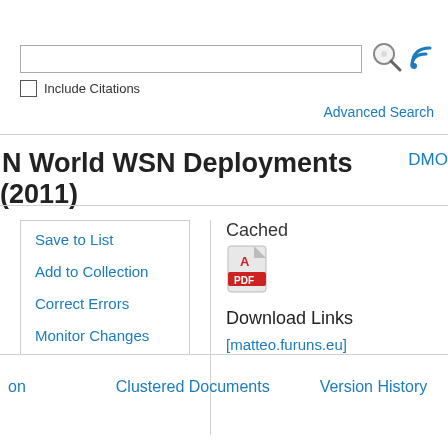[Figure (screenshot): Search bar with search icon and RSS/feed icon to the right]
Include Citations
Advanced Search
N World WSN Deployments (2011)
DMO
Save to List
Add to Collection
Correct Errors
Monitor Changes
Cached
[Figure (illustration): PDF icon (red/white PDF logo)]
Download Links
[matteo.furuns.eu]
on
Clustered Documents
Version History